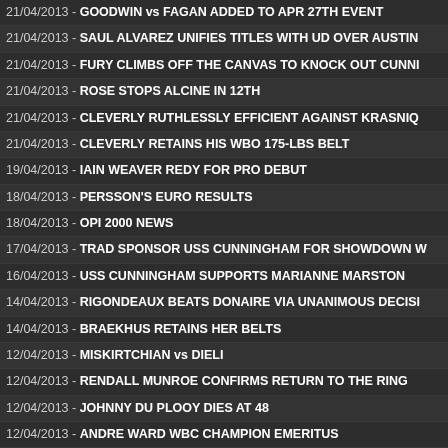21/04/2013 - GOODWIN vs FAGAN ADDED TO APR 27TH EVENT
21/04/2013 - SAUL ALVAREZ UNIFIES TITLES WITH UD OVER AUSTIN
21/04/2013 - FURY CLIMBS OFF THE CANVAS TO KNOCK OUT CUNNI
21/04/2013 - ROSE STOPS ALCINE IN 12TH
21/04/2013 - CLEVERLY RUTHLESSLY EFFICIENT AGAINST KRASNIQ
21/04/2013 - CLEVERLY RETAINS HIS WBO 175-LBS BELT
19/04/2013 - IAIN WEAVER REDY FOR PRO DEBUT
18/04/2013 - PERSSON'S EURO RESULTS
18/04/2013 - OPI 2000 NEWS
17/04/2013 - TRAD SPONSOR USS CUNNINGHAM FOR SHOWDOWN W
16/04/2013 - USS CUNNINGHAM SUPPORTS MARIANNE MARSTON
14/04/2013 - RIGONDEAUX BEATS DONAIRE VIA UNANIMOUS DECISI
14/04/2013 - BRAEKHUS RETAINS HER BELTS
12/04/2013 - MISKIRTCHIAN vs DIELI
12/04/2013 - RENDALL MUNROE CONFIRMS RETURN TO THE RING
12/04/2013 - JOHNNY DU PLOOY DIES AT 48
12/04/2013 - ANDRE WARD WBC CHAMPION EMERITUS
11/04/2013 - DEBUTANT IAIN WEAVER ADDED TO 27TH APRIL SHOW
11/04/2013 - PERSSON'S EURO RESULTS
10/04/2013 - HELENIUS UNABLE TO FIGHT FOR TWO MONTHS
10/04/2013 - THE IOC APPEARS TO HAVE LEFT THE DOOR OPEN
10/04/2013 - BYRNE READY FOR MORRIS
09/04/2013 - OSEI BONSU RELINQUISHED EU TITLE
09/04/2013 - CARL 'THE TRUTH' WILLIAMS DEAD AT 53
09/04/2013 - MARSTON DEDICATES HER NEXT FIGHT TO JOE FRAZIE
08/04/2013 - PERSSON'S EURO NEWS
08/04/2013 - DONAIRE vs RIGONDEAUX. THE FIRT 2013 GREAT FIGH